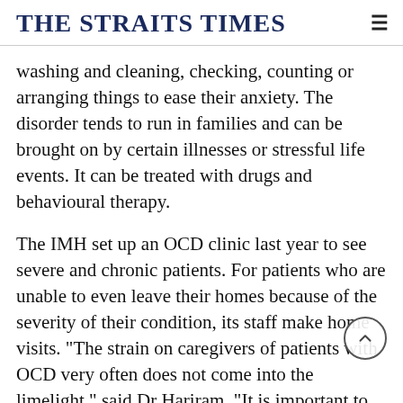THE STRAITS TIMES
washing and cleaning, checking, counting or arranging things to ease their anxiety. The disorder tends to run in families and can be brought on by certain illnesses or stressful life events. It can be treated with drugs and behavioural therapy.
The IMH set up an OCD clinic last year to see severe and chronic patients. For patients who are unable to even leave their homes because of the severity of their condition, its staff make home visits. "The strain on caregivers of patients with OCD very often does not come into the limelight," said Dr Hariram. "It is important to note that the family is not helping in the long run by accommodating the patient with OCD."